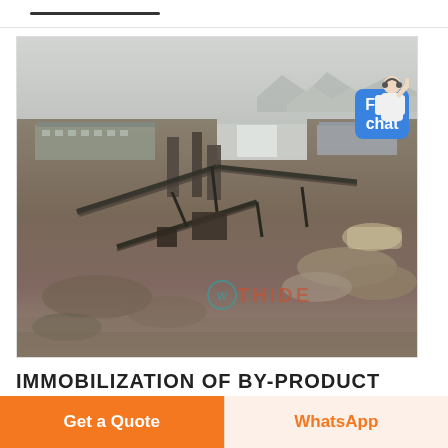[Figure (photo): Aerial photograph of an industrial mining/quarrying site with conveyor belts, processing equipment, ore piles, and industrial buildings in the background. Mountains visible in hazy background. THIDE watermark visible at bottom right of image.]
IMMOBILIZATION OF BY-PRODUCT
Get a Quote
WhatsApp